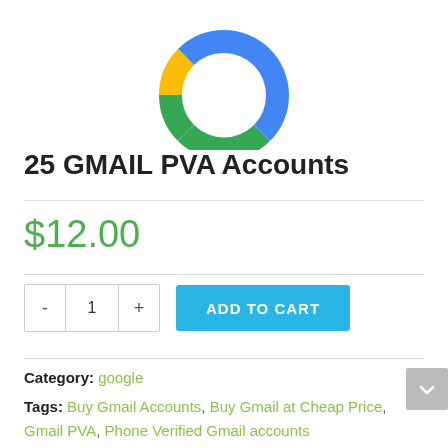[Figure (logo): Google logo - circular arc shape with Google G colors: blue, green, yellow/gold segments forming a partial ring, with white G letterform cutout]
25 GMAIL PVA Accounts
$12.00
Category: google
Tags: Buy Gmail Accounts, Buy Gmail at Cheap Price, Gmail PVA, Phone Verified Gmail accounts